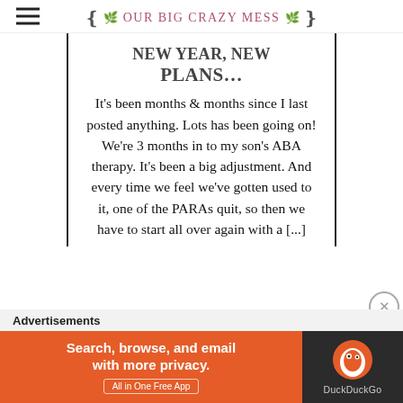Our Big Crazy Mess
NEW YEAR, NEW PLANS…
It's been months & months since I last posted anything. Lots has been going on! We're 3 months in to my son's ABA therapy. It's been a big adjustment. And every time we feel we've gotten used to it, one of the PARAs quit, so then we have to start all over again with a [...]
Advertisements
[Figure (screenshot): DuckDuckGo advertisement banner: orange left panel reading 'Search, browse, and email with more privacy. All in One Free App' and dark right panel with DuckDuckGo logo and name.]